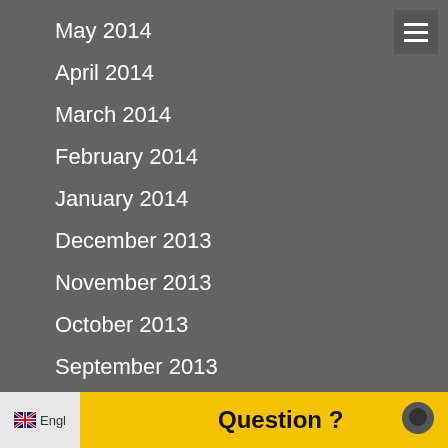May 2014
April 2014
March 2014
February 2014
January 2014
December 2013
November 2013
October 2013
September 2013
August 2013
July 2013
June 2013
Question ?